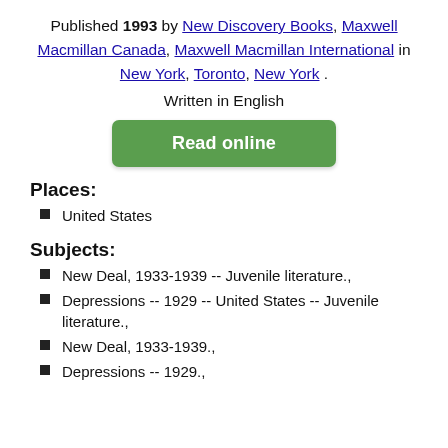Published 1993 by New Discovery Books, Maxwell Macmillan Canada, Maxwell Macmillan International in New York, Toronto, New York .
Written in English
Read online
Places:
United States
Subjects:
New Deal, 1933-1939 -- Juvenile literature.,
Depressions -- 1929 -- United States -- Juvenile literature.,
New Deal, 1933-1939.,
Depressions -- 1929.,